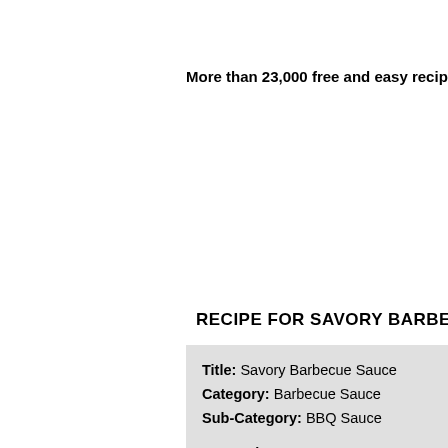More than 23,000 free and easy recipes
RECIPE FOR SAVORY BARBECU…
Title: Savory Barbecue Sauce
Category: Barbecue Sauce
Sub-Category: BBQ Sauce

Instructions:

Savory Barbecue Sauce